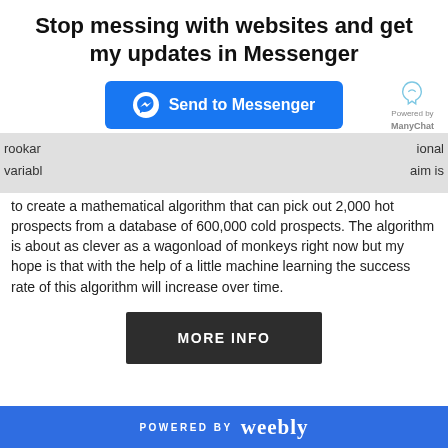Stop messing with websites and get my updates in Messenger
[Figure (screenshot): Blue 'Send to Messenger' button with Facebook Messenger icon, and ManyChat 'Powered by' branding to the right]
rookar... ional variables... aim is to create a mathematical algorithm that can pick out 2,000 hot prospects from a database of 600,000 cold prospects. The algorithm is about as clever as a wagonload of monkeys right now but my hope is that with the help of a little machine learning the success rate of this algorithm will increase over time.
[Figure (screenshot): Dark 'MORE INFO' button]
POWERED BY weebly